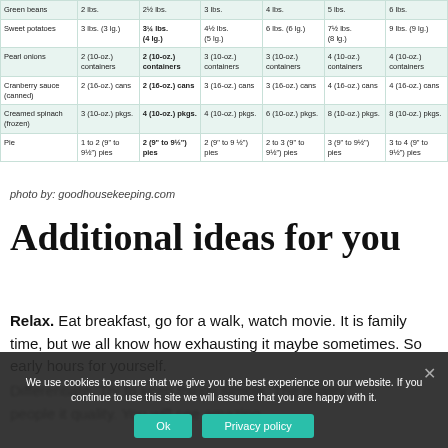|  | col1 | col2 | col3 | col4 | col5 | col6 |
| --- | --- | --- | --- | --- | --- | --- |
| Green beans | 2 lbs. | 2½ lbs. | 3 lbs. | 4 lbs. | 5 lbs. | 6 lbs. |
| Sweet potatoes | 3 lbs. (3 lg.) | 3¼ lbs. (4 lg.) | 4½ lbs. (5 lg.) | 6 lbs. (6 lg.) | 7½ lbs. (8 lg.) | 9 lbs. (9 lg.) |
| Pearl onions | 2 (10-oz.) containers | 2 (10-oz.) containers | 3 (10-oz.) containers | 3 (10-oz.) containers | 4 (10-oz.) containers | 4 (10-oz.) containers |
| Cranberry sauce (canned) | 2 (16-oz.) cans | 2 (16-oz.) cans | 3 (16-oz.) cans | 3 (16-oz.) cans | 4 (16-oz.) cans | 4 (16-oz.) cans |
| Creamed spinach (frozen) | 3 (10-oz.) pkgs. | 4 (10-oz.) pkgs. | 4 (10-oz.) pkgs. | 6 (10-oz.) pkgs. | 8 (10-oz.) pkgs. | 8 (10-oz.) pkgs. |
| Pie | 1 to 2 (9" to 9½") pies | 2 (9" to 9½") pies | 2 (9" to 9½") pies | 2 to 3 (9" to 9½") pies | 3 (9" to 9½") pies | 3 to 4 (9" to 9½") pies |
photo by: goodhousekeeping.com
Additional ideas for you
Relax. Eat breakfast, go for a walk, watch movie. It is family time, but we all know how exhausting it maybe sometimes. So early hours for yourself.